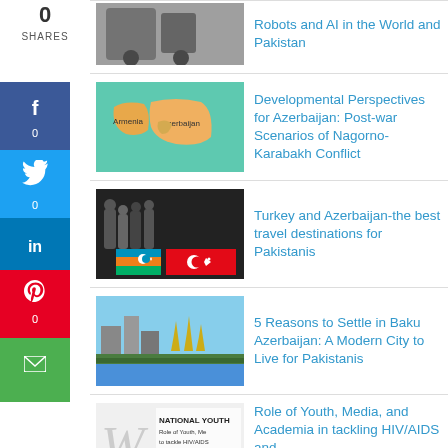[Figure (photo): Partial view of robot/drone machinery at top]
Robots and AI in the World and Pakistan
[Figure (map): Map showing Armenia and Azerbaijan regions]
Developmental Perspectives for Azerbaijan: Post-war Scenarios of Nagorno-Karabakh Conflict
[Figure (photo): Group of people holding Azerbaijan and Turkey flags]
Turkey and Azerbaijan-the best travel destinations for Pakistanis
[Figure (photo): Cityscape of Baku Azerbaijan with flame towers]
5 Reasons to Settle in Baku Azerbaijan: A Modern City to Live for Pakistanis
[Figure (photo): National Youth conference banner about Role of Youth, Media, HIV/AIDS]
Role of Youth, Media, and Academia in tackling HIV/AIDS and